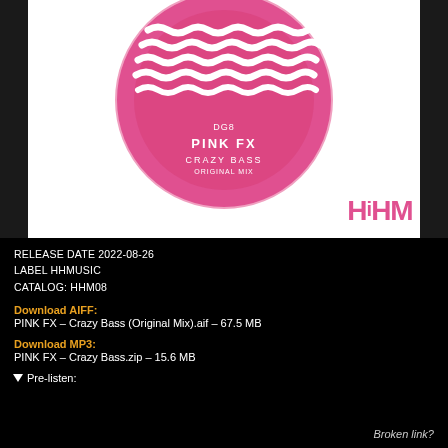[Figure (illustration): Album artwork for PINK FX - Crazy Bass (Original Mix). A pink vinyl record on white background with wavy white text reading 'hhmusic' repeated in decorative style, catalog number DG8, artist name PINK FX, track name CRAZY BASS, ORIGINAL MIX. Bottom right shows HHM logo in pink.]
RELEASE DATE 2022-08-26
LABEL HHMUSIC
CATALOG: HHM08
Download AIFF:
PINK FX – Crazy Bass (Original Mix).aif – 67.5 MB
Download MP3:
PINK FX – Crazy Bass.zip – 15.6 MB
▼ Pre-listen:
Broken link?